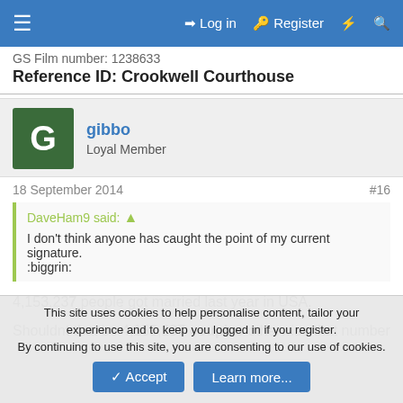Log in  Register
GS Film number: 1238633
Reference ID: Crookwell Courthouse
gibbo
Loyal Member
18 September 2014
#16
DaveHam9 said:
I don't think anyone has caught the point of my current signature. :biggrin:
4,153,237 people got married last year in USA.
Shouldnt that be 4,153,237 couples otherwise that number
This site uses cookies to help personalise content, tailor your experience and to keep you logged in if you register.
By continuing to use this site, you are consenting to our use of cookies.